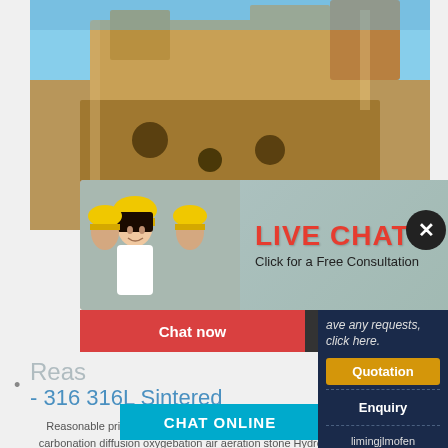[Figure (photo): Industrial mining or construction machinery photographed against a blue sky, large yellow/tan colored heavy equipment structure]
[Figure (photo): Live chat popup overlay showing workers in yellow hard hats, with red LIVE CHAT text and 'Click for a Free Consultation' subtitle]
[Figure (photo): Customer service woman wearing headset smiling, on right side panel]
Chat now
Chat later
ave any requests, click here.
Quotation
Enquiry
limingjlmofen@sina.com
Reasonable price Best Air Stone - 316 316L Sintered
Reasonable price Best Air Stone - 316 316L Sintered micro carbonation diffusion oxygebation air aeration stone Hydrogen Rich Water and HydrOxy kit for He... HENGKO Detail: Hydrogen water is clean, powerful a...
CHAT ONLINE